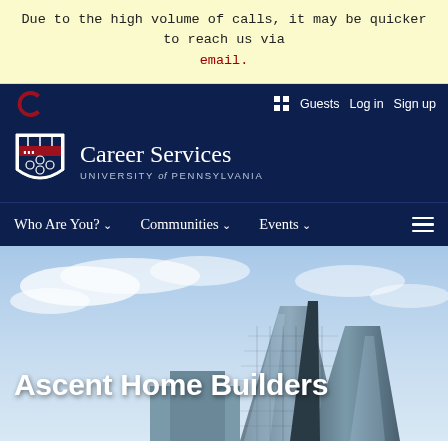Due to the high volume of calls, it may be quicker to reach us via email.
[Figure (screenshot): University of Pennsylvania Career Services website header showing navigation bar with Penn logo, Career Services branding, navigation menu (Who Are You?, Communities, Events), and a hero image of glass skyscrapers with the text 'Ascent Home Builders']